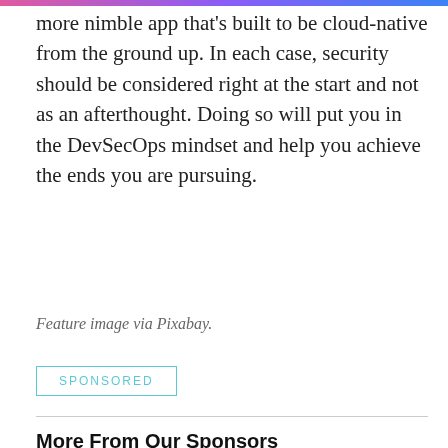more nimble app that's built to be cloud-native from the ground up. In each case, security should be considered right at the start and not as an afterthought. Doing so will put you in the DevSecOps mindset and help you achieve the ends you are pursuing.
Feature image via Pixabay.
SPONSORED
More From Our Sponsors
[Figure (logo): Hydrant app icon - blue/purple shield with checkmark on rounded square background, with brand name 'Hydrant' beside it]
See the big picture with the Service Dependency Graph